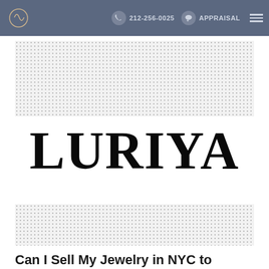212-256-0025  APPRAISAL
[Figure (logo): LURIYA jeweler logo — large serif black text reading LURIYA centered on white background, flanked by dotted/checkered grey banner areas above and below]
Can I Sell My Jewelry in NYC to